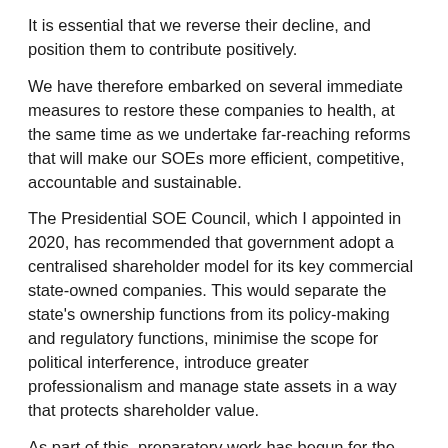It is essential that we reverse their decline, and position them to contribute positively.
We have therefore embarked on several immediate measures to restore these companies to health, at the same time as we undertake far-reaching reforms that will make our SOEs more efficient, competitive, accountable and sustainable.
The Presidential SOE Council, which I appointed in 2020, has recommended that government adopt a centralised shareholder model for its key commercial state-owned companies. This would separate the state's ownership functions from its policy-making and regulatory functions, minimise the scope for political interference, introduce greater professionalism and manage state assets in a way that protects shareholder value.
As part of this, preparatory work has begun for the establishment of a state-owned Holding Company to house strategic SOEs and to exercise coordinated shareholder oversight.
To ensure that state-owned enterprises are effectively fulfilling their responsibilities, the Presidential SOE Council is preparing recommendations on state-owned entities to be retained, consolidated or disposed of.